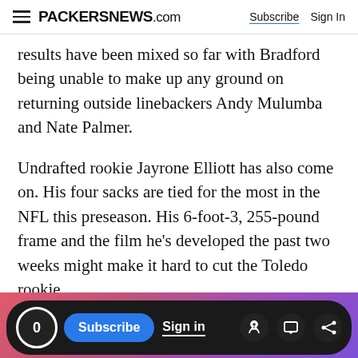PACKERSNEWS.com | Subscribe | Sign In
results have been mixed so far with Bradford being unable to make up any ground on returning outside linebackers Andy Mulumba and Nate Palmer.
Undrafted rookie Jayrone Elliott has also come on. His four sacks are tied for the most in the NFL this preseason. His 6-foot-3, 255-pound frame and the film he's developed the past two weeks might make it hard to cut the Toledo rookie.
Advertisement